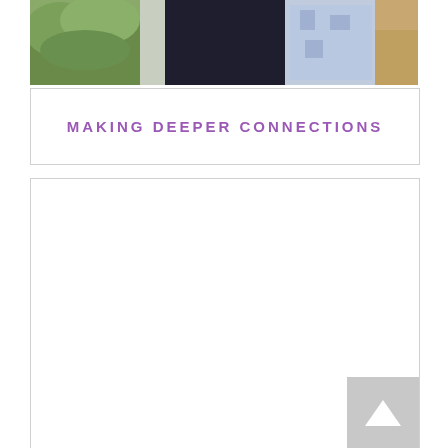[Figure (photo): Photograph of two people standing outdoors with green foliage on the left and sandy/gravel ground on the right. One person wearing dark clothing, the other in a light blue patterned top.]
MAKING DEEPER CONNECTIONS
[Figure (other): Large empty white content box, with a gray back-to-top button with an upward arrow in the bottom-right corner.]